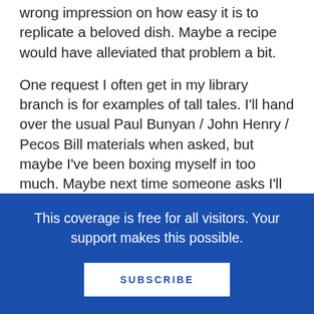wrong impression on how easy it is to replicate a beloved dish. Maybe a recipe would have alleviated that problem a bit.
One request I often get in my library branch is for examples of tall tales. I'll hand over the usual Paul Bunyan / John Henry / Pecos Bill materials when asked, but maybe I've been boxing myself in too much. Maybe next time someone asks I'll pluck Hot, Hot Roti for Dada-ji off the shelf as well. After all, I think it's beneficial to see how telling exaggerated tales isn't solely a historical activity performed by our forefathers. People today exaggerate all the time, often about their own lives. Whether you believe Dada-ji's tales is inconsequential. The lesson here
This coverage is free for all visitors. Your support makes this possible.
SUBSCRIBE